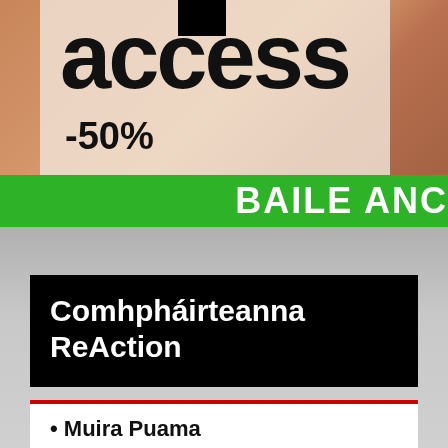[Figure (photo): Background photo showing a warm-toned surface (terracotta/wood) with overlay boxes and large 'access' text and '-50%' discount text, plus green banner with 'BAILE ANÓ' text]
access
-50%
BAILE ANÓ
Comhpháirteanna ReAction
• Muira Puama